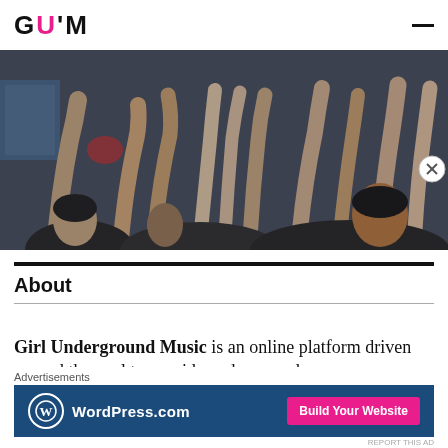GUM (Girl Underground Music) — site header with logo and hamburger menu
[Figure (photo): Concert crowd with hands raised in the air, urban outdoor setting, monochromatic/dark tone]
About
Girl Underground Music is an online platform driven around the goal to provide underground
[Figure (infographic): WordPress.com advertisement banner with logo and 'Build Your Website' button]